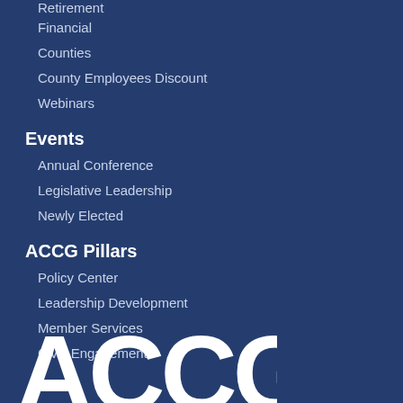Retirement
Financial
Counties
County Employees Discount
Webinars
Events
Annual Conference
Legislative Leadership
Newly Elected
ACCG Pillars
Policy Center
Leadership Development
Member Services
Civic Engagement
[Figure (logo): ACCG logo in large bold white letters at the bottom of the page]